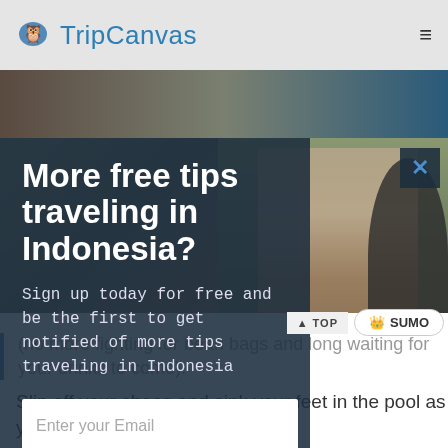TripCanvas
[Figure (screenshot): TripCanvas website screenshot with popup modal. Modal asks users to sign up for free tips traveling in Indonesia. Contains email input and Free Subscribe button. Background shows three women posing outdoors.]
More free tips traveling in Indonesia?
Sign up today for free and be the first to get notified of more tips traveling in Indonesia
no, thanks
(no more fighting for bean bags and long waiting for your drinks to come).
Slip off your shoes and sink your feet in the pool as your